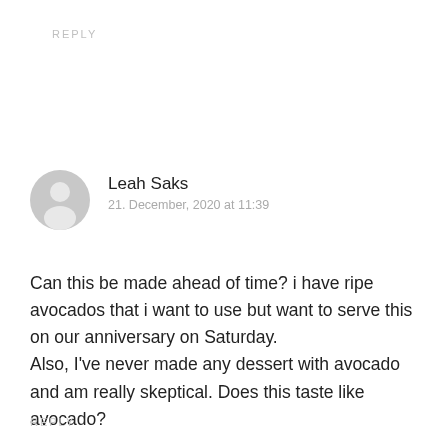REPLY
[Figure (illustration): Generic user avatar — a grey circle with a grey person silhouette icon inside]
Leah Saks
21. December, 2020 at 11:39
Can this be made ahead of time? i have ripe avocados that i want to use but want to serve this on our anniversary on Saturday.
Also, I've never made any dessert with avocado and am really skeptical. Does this taste like avocado?
REPLY